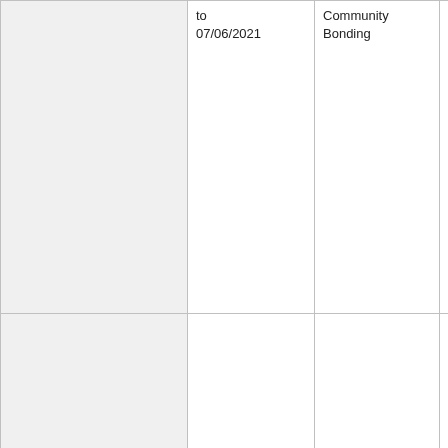|  | Date | Phase/Milestone | Deliverables |
| --- | --- | --- | --- |
|  | to
07/06/2021 | Community
Bonding | stuff
Make sure the stuff for project is available
Coding Begins |
|  | 14/06/2021 | Milestone
#1 | Introductory Video
Build and test the already present device tree files
Update as per mentioned kernel version and bindings as necessary |
|  |  |  | Build and Test A prototype of Device Tree... |